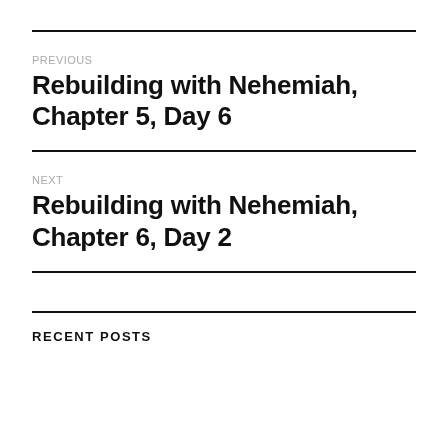PREVIOUS
Rebuilding with Nehemiah, Chapter 5, Day 6
NEXT
Rebuilding with Nehemiah, Chapter 6, Day 2
RECENT POSTS